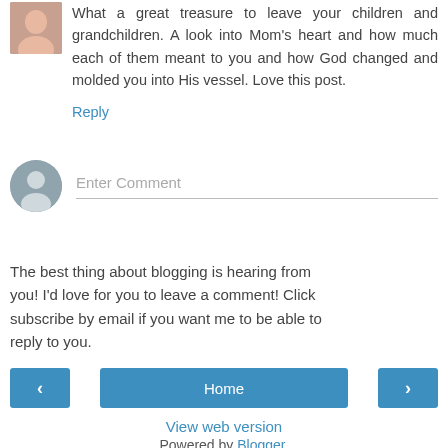What a great treasure to leave your children and grandchildren. A look into Mom's heart and how much each of them meant to you and how God changed and molded you into His vessel. Love this post.
Reply
Enter Comment
The best thing about blogging is hearing from you! I'd love for you to leave a comment! Click subscribe by email if you want me to be able to reply to you.
‹
Home
›
View web version
Powered by Blogger.